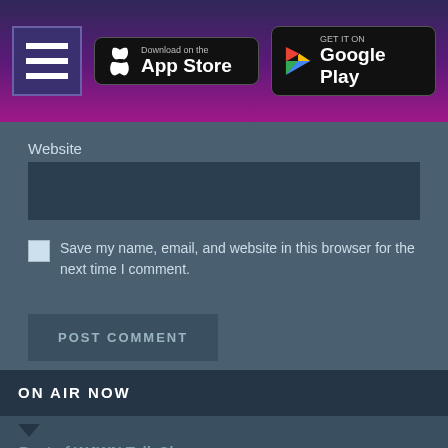[Figure (screenshot): Hamburger menu icon (three white horizontal lines on dark purple background)]
[Figure (screenshot): Download on the App Store badge]
[Figure (screenshot): Get it on Google Play badge]
Website
Save my name, email, and website in this browser for the next time I comment.
POST COMMENT
ON AIR NOW
Best of W4WN Talk Shows
The Women 4 Women Network #1 Ranked Women's Radio Station